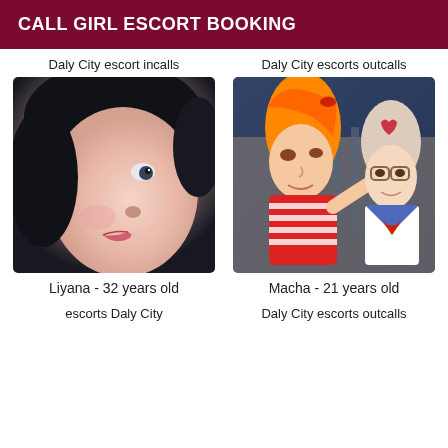CALL GIRL ESCORT BOOKING
Daly City escort incalls
[Figure (photo): Close-up photo of a young woman's face with dark hair and light skin]
Liyana - 32 years old
escorts Daly City
Daly City escorts outcalls
[Figure (illustration): Anime-style illustration of two young women, one with orange hair in a striped top, one with light hair in a sailor outfit]
Macha - 21 years old
Daly City escorts outcalls